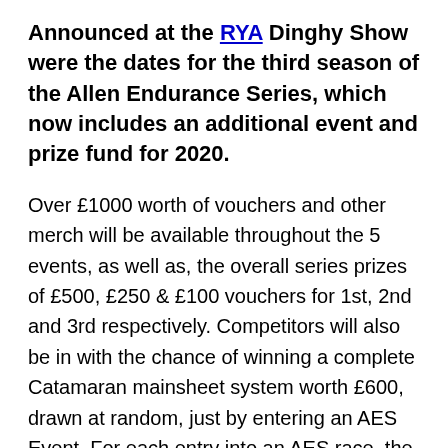Announced at the RYA Dinghy Show were the dates for the third season of the Allen Endurance Series, which now includes an additional event and prize fund for 2020.
Over £1000 worth of vouchers and other merch will be available throughout the 5 events, as well as, the overall series prizes of £500, £250 & £100 vouchers for 1st, 2nd and 3rd respectively. Competitors will also be in with the chance of winning a complete Catamaran mainsheet system worth £600, drawn at random, just by entering an AES Event. For each entry into an AES race, the competitor will receive an entry to the random